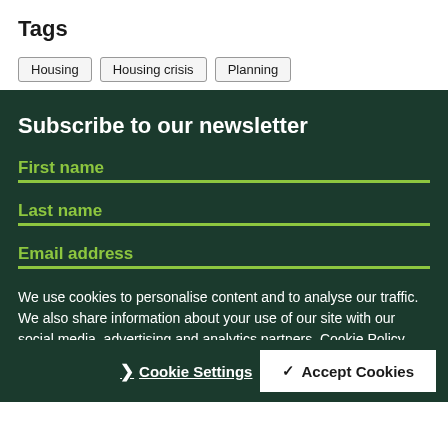Tags
Housing
Housing crisis
Planning
Subscribe to our newsletter
First name
Last name
Email address
We use cookies to personalise content and to analyse our traffic. We also share information about your use of our site with our social media, advertising and analytics partners. Cookie Policy
Cookie Settings
✓ Accept Cookies